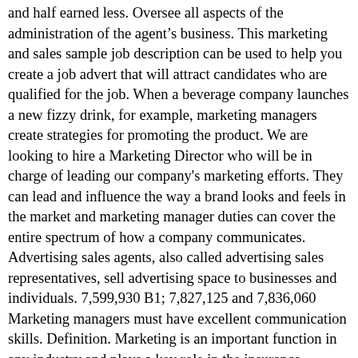and half earned less. Oversee all aspects of the administration of the agentâs business. This marketing and sales sample job description can be used to help you create a job advert that will attract candidates who are qualified for the job. When a beverage company launches a new fizzy drink, for example, marketing managers create strategies for promoting the product. We are looking to hire a Marketing Director who will be in charge of leading our company's marketing efforts. They can lead and influence the way a brand looks and feels in the market and marketing manager duties can cover the entire spectrum of how a company communicates. Advertising sales agents, also called advertising sales representatives, sell advertising space to businesses and individuals. 7,599,930 B1; 7,827,125 and 7,836,060 Marketing managers must have excellent communication skills. Definition. Marketing is an important function in any industry and plays a key role in the insurance industry too. Use our Job Description Tool to sort through over 13,000 other Job Titles and Careers. Answers questions from clients about product and service benefits, Maintains excellent relationships with clients through superior customer service, Tracks sales data and works to meet quotas or sales team goals, Analyses trends, data, demographics, pricing strategies, and other information that can potentially improve marketing and sales performance, Creates and presents regular performance reports for managers and executives, Helps to interview, hire, manage, and direct members of the company's marketing sales team, Assists in specific sales as necessary